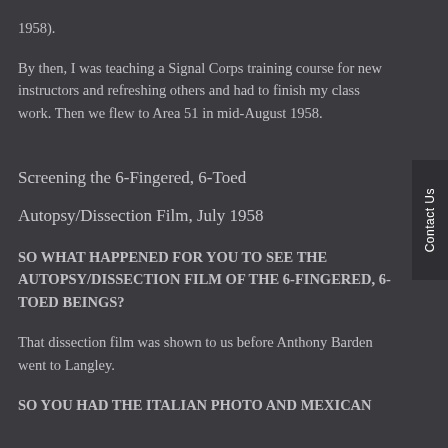1958).
By then, I was teaching a Signal Corps training course for new instructors and refreshing others and had to finish my class work. Then we flew to Area 51 in mid-August 1958.
Screening the 6-Fingered, 6-Toed
Autopsy/Dissection Film, July 1958
SO WHAT HAPPENED FOR YOU TO SEE THE AUTOPSY/DISSECTION FILM OF THE 6-FINGERED, 6-TOED BEINGS?
That dissection film was shown to us before Anthony Barden went to Langley.
SO YOU HAD THE ITALIAN PHOTO AND MEXICAN